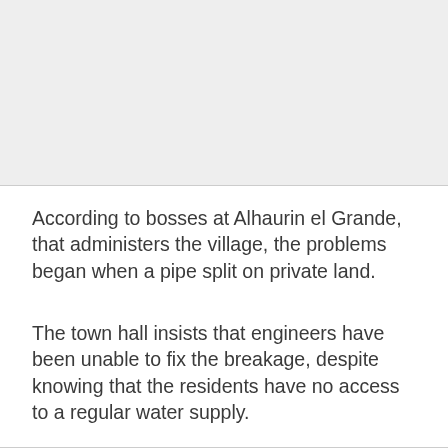[Figure (photo): Image placeholder, light gray background representing a photograph or graphic at the top of the page]
According to bosses at Alhaurin el Grande, that administers the village, the problems began when a pipe split on private land.
The town hall insists that engineers have been unable to fix the breakage, despite knowing that the residents have no access to a regular water supply.